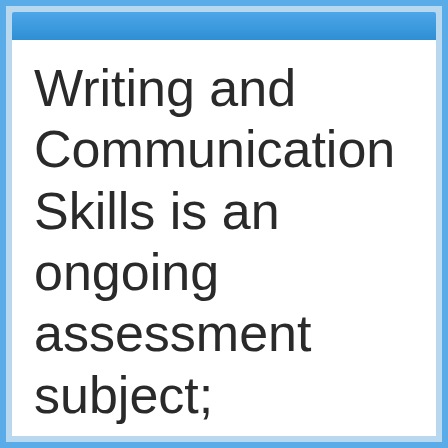Writing and Communication Skills is an ongoing assessment subject; therefore, class attendance is essential.